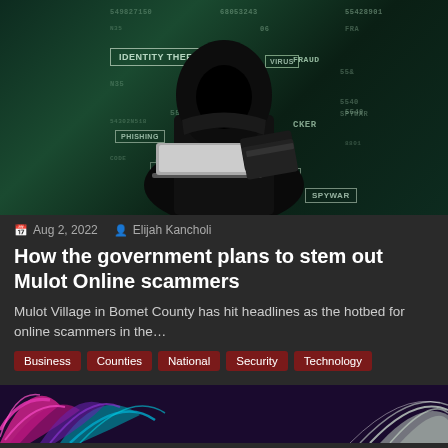[Figure (photo): A hooded hacker figure in dark clothing typing on a laptop while holding a credit card, surrounded by cybersecurity-related text overlays including IDENTITY THEFT, HACKER, VIRUS, FRAUD, PHISHING, SPYWARE, and various numeric strings, all on a dark green-tinted background.]
Aug 2, 2022  Elijah Kancholi
How the government plans to stem out Mulot Online scammers
Mulot Village in Bomet County has hit headlines as the hotbed for online scammers in the…
Business
Counties
National
Security
Technology
[Figure (photo): Colorful tropical palm leaf fronds in vibrant pink, purple, teal, and white tones against a dark background, partially visible at bottom of page.]